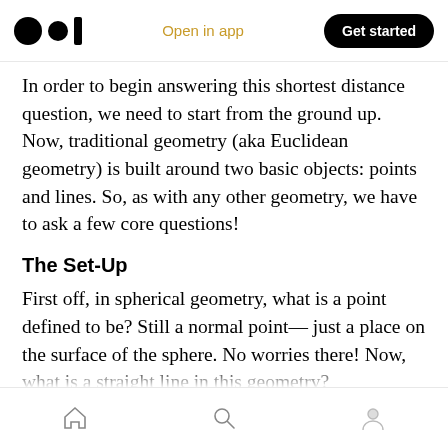Open in app | Get started
In order to begin answering this shortest distance question, we need to start from the ground up. Now, traditional geometry (aka Euclidean geometry) is built around two basic objects: points and lines. So, as with any other geometry, we have to ask a few core questions!
The Set-Up
First off, in spherical geometry, what is a point defined to be? Still a normal point— just a place on the surface of the sphere. No worries there! Now, what is a straight line in this geometry?
Home | Search | Profile